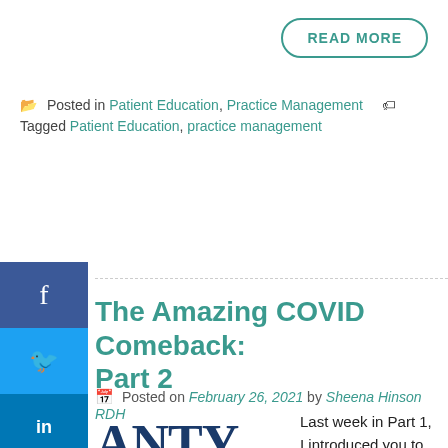READ MORE
Posted in Patient Education, Practice Management   Tagged Patient Education, practice management
The Amazing COVID Comeback: Part 2
Posted on February 26, 2021 by Sheena Hinson RDH
[Figure (logo): Atlantic Center for dentistry and dental implants logo, partially visible]
Last week in Part 1, I introduced you to my team's success during the difficult year of 2020. I delved into some of our practices and now you must be wondering, how in the world do I start